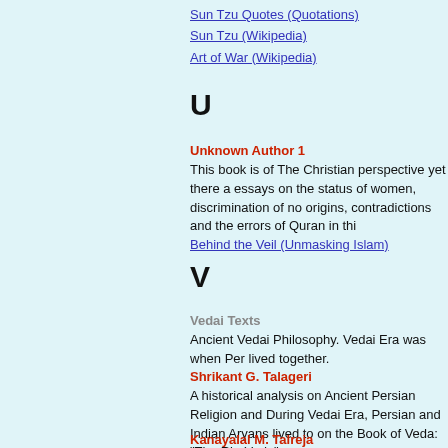Sun Tzu Quotes (Quotations)
Sun Tzu (Wikipedia)
Art of War (Wikipedia)
U
Unknown Author 1
This book is of The Christian perspective yet there a essays on the status of women, discrimination of no origins, contradictions and the errors of Quran in this Behind the Veil (Unmasking Islam)
V
Vedai Texts
Ancient Vedai Philosophy. Vedai Era was when Pers lived together.
Shrikant G. Talageri
A historical analysis on Ancient Persian Religion and During Vedai Era, Persian and Indian Aryans lived to on the Book of Veda: "The Rig-Veda"
The Rigveda
A Historical Analysis
The Rigveda
Kanayalal M. Talreja